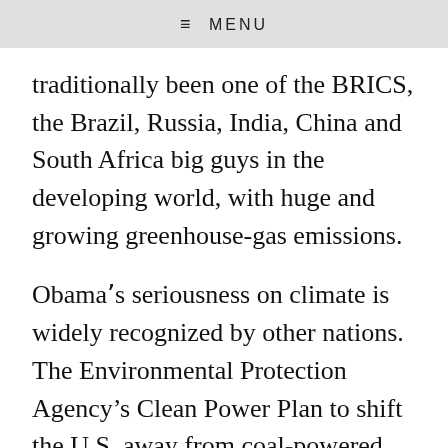≡ MENU
traditionally been one of the BRICS, the Brazil, Russia, India, China and South Africa big guys in the developing world, with huge and growing greenhouse-gas emissions.
Obamaʼs seriousness on climate is widely recognized by other nations. The Environmental Protection Agency’s Clean Power Plan to shift the U.S. away from coal-powered electricity, the fuel-efficiency standards for the U.S. vehicle fleet, the veto of the Keystone XL pipeline, the progress in renewable energy in Texas, California and elsewhere, are well known and received